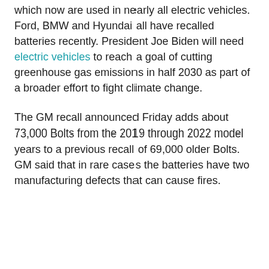which now are used in nearly all electric vehicles. Ford, BMW and Hyundai all have recalled batteries recently. President Joe Biden will need electric vehicles to reach a goal of cutting greenhouse gas emissions in half 2030 as part of a broader effort to fight climate change.
The GM recall announced Friday adds about 73,000 Bolts from the 2019 through 2022 model years to a previous recall of 69,000 older Bolts. GM said that in rare cases the batteries have two manufacturing defects that can cause fires.